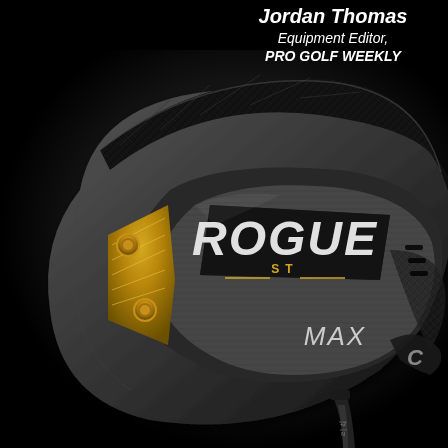Jordan Thomas
Equipment Editor,
PRO GOLF WEEKLY
[Figure (photo): Close-up product photo of a Callaway Rogue ST MAX driver golf club head against a black background, showing gold accents, carbon fiber crown, and the Rogue ST MAX branding on the face.]